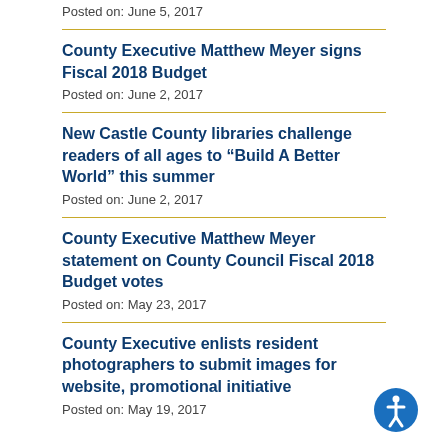Posted on: June 5, 2017
County Executive Matthew Meyer signs Fiscal 2018 Budget
Posted on: June 2, 2017
New Castle County libraries challenge readers of all ages to “Build A Better World” this summer
Posted on: June 2, 2017
County Executive Matthew Meyer statement on County Council Fiscal 2018 Budget votes
Posted on: May 23, 2017
County Executive enlists resident photographers to submit images for website, promotional initiative
Posted on: May 19, 2017